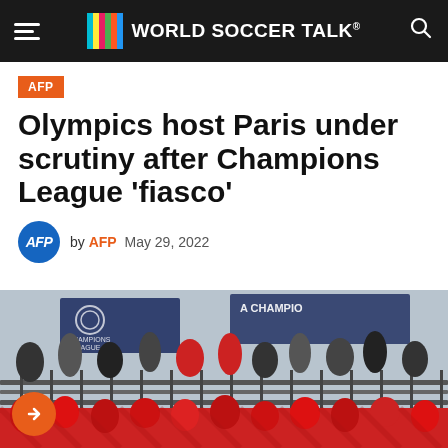WORLD SOCCER TALK
AFP
Olympics host Paris under scrutiny after Champions League ‘fiasco’
by AFP  May 29, 2022
[Figure (photo): Crowd of fans and people gathered outside a stadium with UEFA Champions League banners in the background, viewed from above through metal railings.]